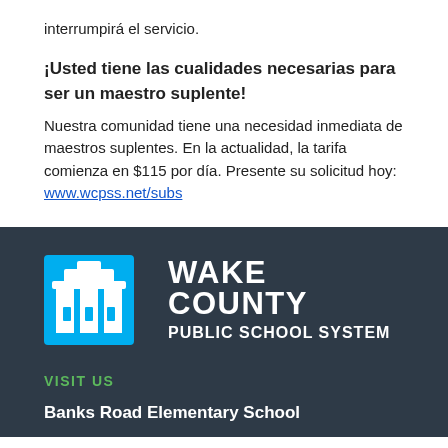interrumpirá el servicio.
¡Usted tiene las cualidades necesarias para ser un maestro suplente! Nuestra comunidad tiene una necesidad inmediata de maestros suplentes. En la actualidad, la tarifa comienza en $115 por día. Presente su solicitud hoy: www.wcpss.net/subs
[Figure (logo): Wake County Public School System logo: blue square icon with building/shield symbol, white text WAKE COUNTY PUBLIC SCHOOL SYSTEM on dark background]
VISIT US
Banks Road Elementary School